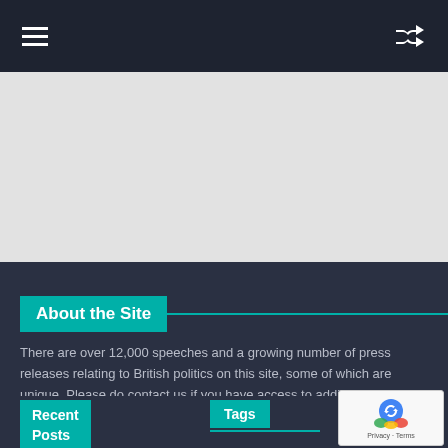Navigation bar with hamburger menu and shuffle icon
[Figure (other): Gray banner/advertisement area]
About the Site
There are over 12,000 speeches and a growing number of press releases relating to British politics on this site, some of which are unique. Please do contact us if you have access to additional speeches.
Recent Posts
Tags
[Figure (other): reCAPTCHA Privacy - Terms badge]